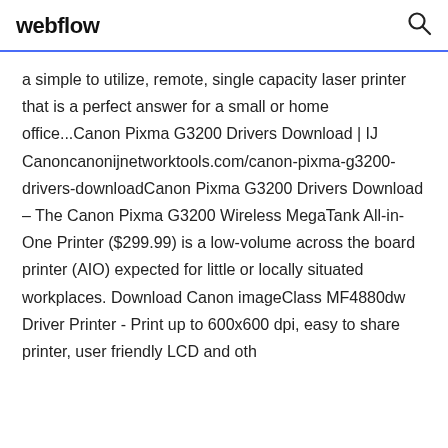webflow
a simple to utilize, remote, single capacity laser printer that is a perfect answer for a small or home office...Canon Pixma G3200 Drivers Download | IJ Canoncanonijnetworktools.com/canon-pixma-g3200-drivers-downloadCanon Pixma G3200 Drivers Download – The Canon Pixma G3200 Wireless MegaTank All-in-One Printer ($299.99) is a low-volume across the board printer (AIO) expected for little or locally situated workplaces. Download Canon imageClass MF4880dw Driver Printer - Print up to 600x600 dpi, easy to share printer, user friendly LCD and oth